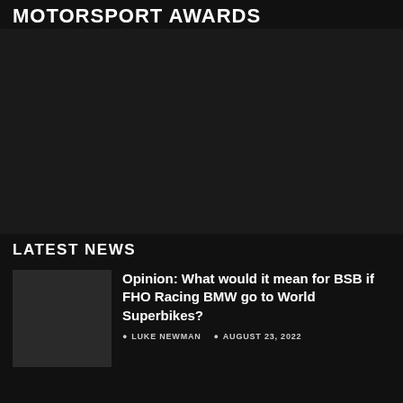MOTORSPORT AWARDS
[Figure (photo): Dark image area, content not visible]
LATEST NEWS
[Figure (photo): News article thumbnail image]
Opinion: What would it mean for BSB if FHO Racing BMW go to World Superbikes?
LUKE NEWMAN   AUGUST 23, 2022